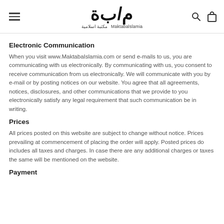MaktabaIslamia — مكتبة اسلامية
Electronic Communication
When you visit www.MaktabaIslamia.com or send e-mails to us, you are communicating with us electronically. By communicating with us, you consent to receive communication from us electronically. We will communicate with you by e-mail or by posting notices on our website. You agree that all agreements, notices, disclosures, and other communications that we provide to you electronically satisfy any legal requirement that such communication be in writing.
Prices
All prices posted on this website are subject to change without notice. Prices prevailing at commencement of placing the order will apply. Posted prices do includes all taxes and charges. In case there are any additional charges or taxes the same will be mentioned on the website.
Payment